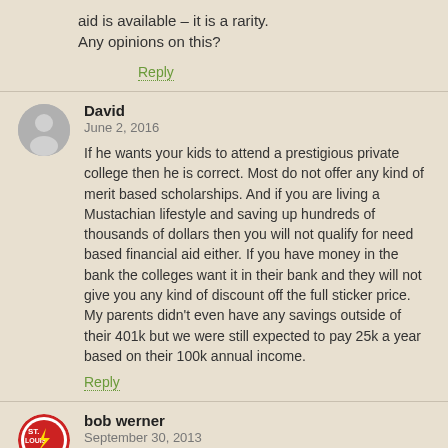aid is available – it is a rarity. Any opinions on this?
Reply
David
June 2, 2016
If he wants your kids to attend a prestigious private college then he is correct. Most do not offer any kind of merit based scholarships. And if you are living a Mustachian lifestyle and saving up hundreds of thousands of dollars then you will not qualify for need based financial aid either. If you have money in the bank the colleges want it in their bank and they will not give you any kind of discount off the full sticker price. My parents didn't even have any savings outside of their 401k but we were still expected to pay 25k a year based on their 100k annual income.
Reply
bob werner
September 30, 2013